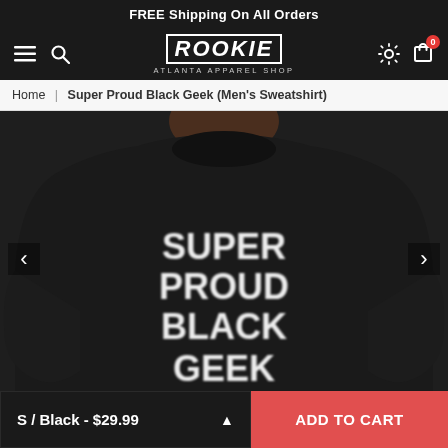FREE Shipping On All Orders
[Figure (logo): ROOKIE ATLANTA APPAREL SHOP logo in blocky white letters on black nav bar]
Home | Super Proud Black Geek (Men's Sweatshirt)
[Figure (photo): Close-up photo of a person wearing a black crewneck sweatshirt with white graphic text reading SUPER PROUD BLACK GEEK]
S / Black - $29.99
ADD TO CART